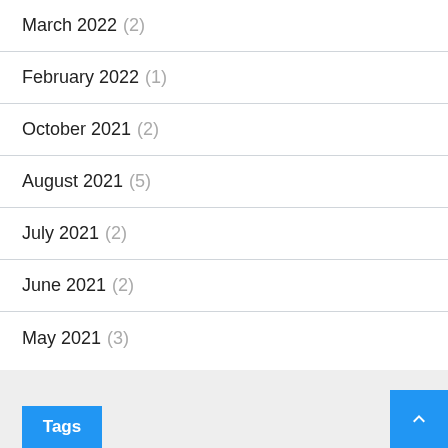March 2022 (2)
February 2022 (1)
October 2021 (2)
August 2021 (5)
July 2021 (2)
June 2021 (2)
May 2021 (3)
Tags